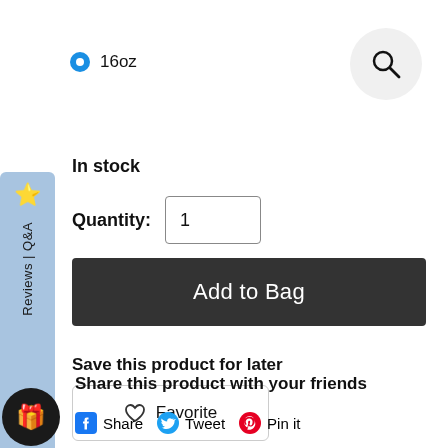16oz
In stock
Quantity: 1
Add to Bag
Save this product for later
Favorite
Share this product with your friends
Share  Tweet  Pin it
Reviews | Q&A